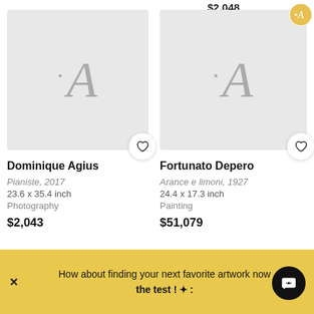$2,043
[Figure (screenshot): Artwork placeholder image for Dominique Agius showing a period and letter A logo on light grey background with a heart/favorite button]
Dominique Agius
Pianiste, 2017
23.6 x 35.4 inch
Photography
$2,043
[Figure (screenshot): Artwork placeholder image for Fortunato Depero showing a period and letter A logo on light grey background with a heart/favorite button and a gold badge]
Fortunato Depero
Arance e limoni, 1927
24.4 x 17.3 inch
Painting
$51,079
How about finding your next favorite artwork now the test ! ✦: